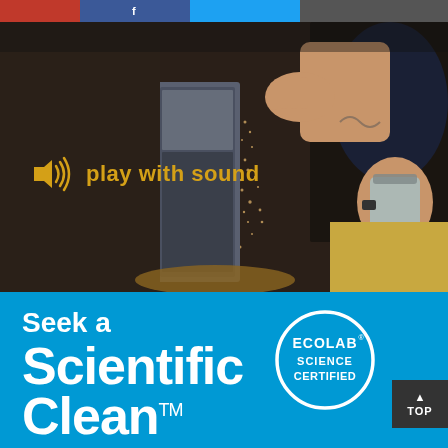[Figure (screenshot): Browser tab bar with red, Facebook blue, Twitter blue, and dark gray tabs visible at top]
[Figure (photo): Dark video thumbnail showing a person pouring grain/particles from their hand into industrial equipment. A play with sound button overlay is visible with a yellow speaker icon and yellow text reading 'play with sound'.]
play with sound
[Figure (infographic): Blue banner with white text reading 'Seek a Scientific Clean™' and Ecolab Science Certified circular badge logo on the right]
Seek a Scientific Clean™